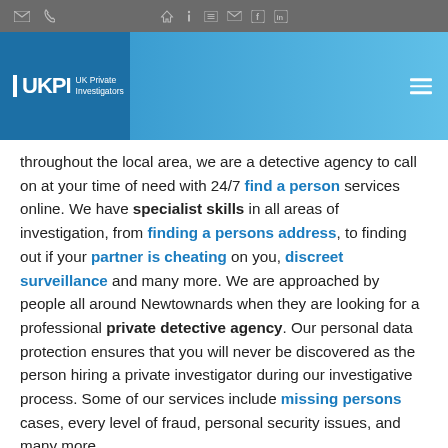Toolbar with navigation icons
[Figure (logo): UKPI UK Private Investigators logo on blue header band with hamburger menu icon]
throughout the local area, we are a detective agency to call on at your time of need with 24/7 find a person services online. We have specialist skills in all areas of investigation, from finding a persons address, to finding out if your partner is cheating on you, discreet surveillance and many more. We are approached by people all around Newtownards when they are looking for a professional private detective agency. Our personal data protection ensures that you will never be discovered as the person hiring a private investigator during our investigative process. Some of our services include missing persons cases, every level of fraud, personal security issues, and many more.